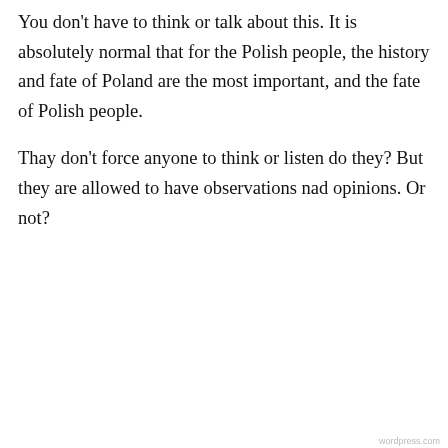You don't have to think or talk about this. It is absolutely normal that for the Polish people, the history and fate of Poland are the most important, and the fate of Polish people.

Thay don't force anyone to think or listen do they? But they are allowed to have observations nad opinions. Or not?
guest on September 1, 2009 at 9:05 pm
Privacy & Cookies: This site uses cookies. By continuing to use this website, you agree to their use.
To find out more, including how to control cookies, see here: Cookie Policy